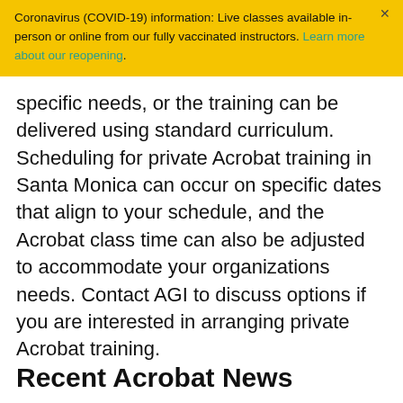Coronavirus (COVID-19) information: Live classes available in-person or online from our fully vaccinated instructors. Learn more about our reopening.
specific needs, or the training can be delivered using standard curriculum. Scheduling for private Acrobat training in Santa Monica can occur on specific dates that align to your schedule, and the Acrobat class time can also be adjusted to accommodate your organizations needs. Contact AGI to discuss options if you are interested in arranging private Acrobat training.
Recent Acrobat News